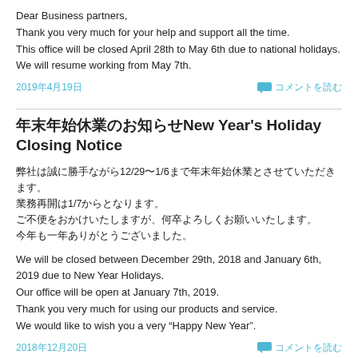Dear Business partners,
Thank you very much for your help and support all the time.
This office will be closed April 28th to May 6th due to national holidays.
We will resume working from May 7th.
2019年4月19日
コメントを読む
年末年始休業のお知らせNew Year's Holiday Closing Notice
弊社は誠に勝手ながら12/29〜1/6まで年末年始休業とさせていただきます。
業務再開は1/7からとなります。
ご不便をおかけいたしますが、何卒よろしくお願いいたします。
今年も一年ありがとうございました。
We will be closed between December 29th, 2018 and January 6th, 2019 due to New Year Holidays.
Our office will be open at January 7th, 2019.
Thank you very much for using our products and service.
We would like to wish you a very “Happy New Year”.
2018年12月20日
コメントを読む